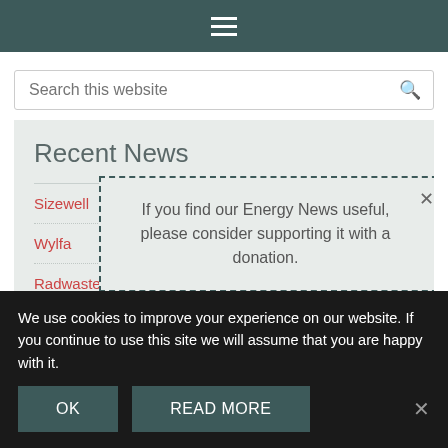≡ (hamburger menu icon)
Search this website
Recent News
Sizewell
Wylfa
Radwaste
Dounreay
If you find our Energy News useful, please consider supporting it with a donation.
We use cookies to improve your experience on our website. If you continue to use this site we will assume that you are happy with it.
OK
READ MORE